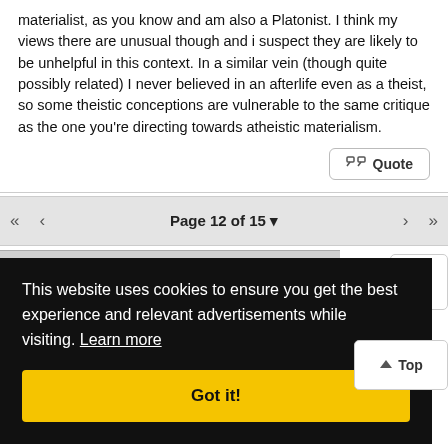materialist, as you know and am also a Platonist. I think my views there are unusual though and i suspect they are likely to be unhelpful in this context. In a similar vein (though quite possibly related) I never believed in an afterlife even as a theist, so some theistic conceptions are vulnerable to the same critique as the one you're directing towards atheistic materialism.
Quote
<< < Page 12 of 15 ▾ > >>
This website uses cookies to ensure you get the best experience and relevant advertisements while visiting. Learn more
Got it!